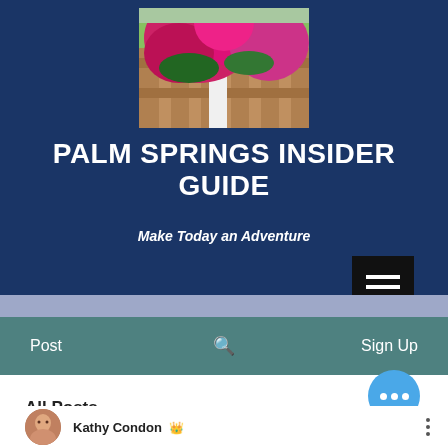[Figure (photo): Photo of bright pink/magenta bougainvillea flowers on a wooden fence with green lawn in background]
PALM SPRINGS INSIDER GUIDE
Make Today an Adventure
[Figure (other): Hamburger menu button (three horizontal white lines on black background)]
Post
🔍
Sign Up
All Posts
[Figure (other): Blue circular FAB button with three white dots (ellipsis)]
Kathy Condon 👑